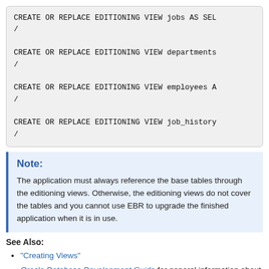[Figure (other): Code block showing SQL CREATE OR REPLACE EDITIONING VIEW statements for jobs, departments, employees, and job_history views, each terminated with a forward slash.]
Note:
The application must always reference the base tables through the editioning views. Otherwise, the editioning views do not cover the tables and you cannot use EBR to upgrade the finished application when it is in use.
See Also:
"Creating Views"
Oracle Database Development Guide for general information about editioning views
Oracle Database Development Guide for information about...